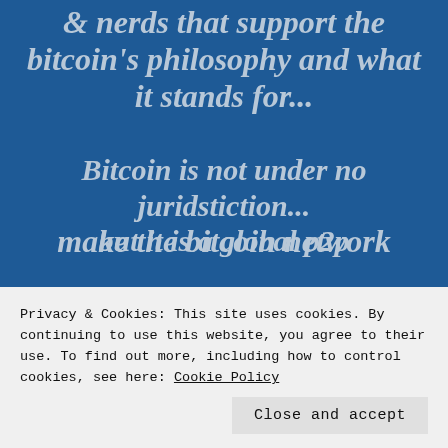& nerds that support the bitcoin's philosophy and what it stands for...
Bitcoin is not under no juridstiction... but it is a global p2p
make the bitcoin network
Privacy & Cookies: This site uses cookies. By continuing to use this website, you agree to their use. To find out more, including how to control cookies, see here: Cookie Policy
Close and accept